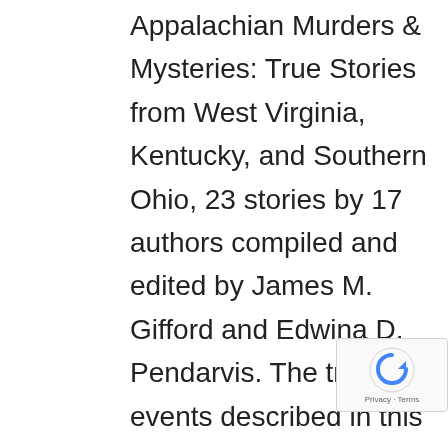Appalachian Murders & Mysteries: True Stories from West Virginia, Kentucky, and Southern Ohio, 23 stories by 17 authors compiled and edited by James M. Gifford and Edwina D. Pendarvis. The tragic events described in this book could have happened anywhere, but they happened here in central Appalachia. They are a part of our history. Together, these stories create a literary “mourning quilt,” commemorating the innocent and the guilty and piecing together signifi remnants of 200 years of life in ea Kentucky, southern Ohio, and West